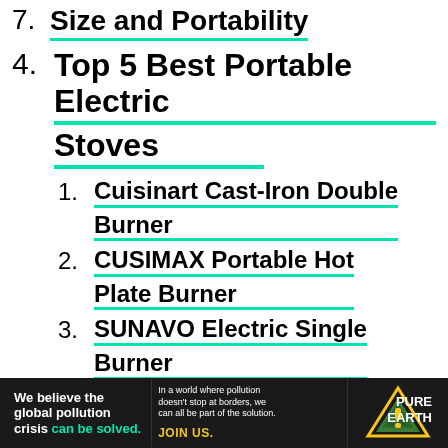7. Size and Portability
4. Top 5 Best Portable Electric Stoves
1. Cuisinart Cast-Iron Double Burner
2. CUSIMAX Portable Hot Plate Burner
3. SUNAVO Electric Single Burner
4. Duxtop Professional Portable Induction Cooktop
5. Elite Gourmet Single Electric Hot Plate Burner
[Figure (infographic): Pure Earth advertisement banner: 'We believe the global pollution crisis can be solved.' with Pure Earth logo on right.]